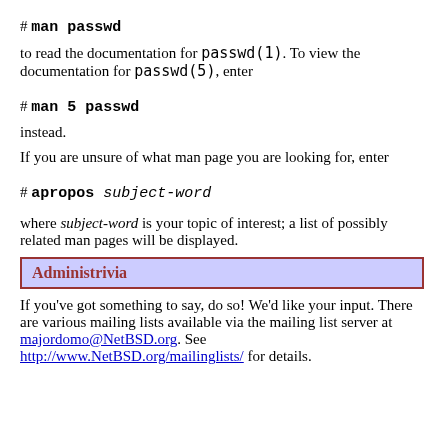# man passwd
to read the documentation for passwd(1). To view the documentation for passwd(5), enter
# man 5 passwd
instead.
If you are unsure of what man page you are looking for, enter
# apropos subject-word
where subject-word is your topic of interest; a list of possibly related man pages will be displayed.
Administrivia
If you've got something to say, do so! We'd like your input. There are various mailing lists available via the mailing list server at majordomo@NetBSD.org. See http://www.NetBSD.org/mailinglists/ for details.